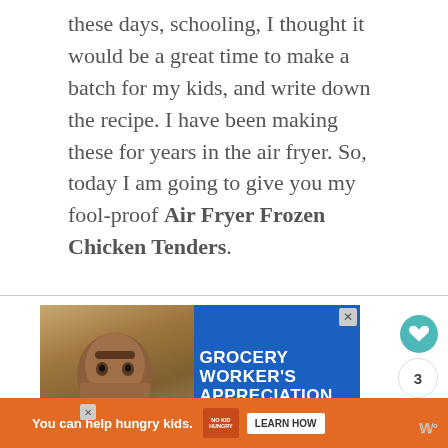these days, schooling, I thought it would be a great time to make a batch for my kids, and write down the recipe. I have been making these for years in the air fryer. So, today I am going to give you my fool-proof Air Fryer Frozen Chicken Tenders.
[Figure (other): Advertisement banner showing a smiling man in front of a grocery store background with text 'GROCERY WORKER'S APPRECIATION' on a blue background, with a close X button in the top right]
[Figure (other): Bottom orange advertisement bar reading 'You can help hungry kids.' with No Kid Hungry logo and Learn How button]